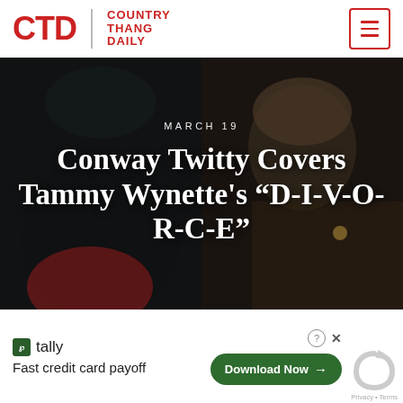CTD | COUNTRY THANG DAILY
[Figure (photo): Hero image split between Conway Twitty (left, dark-haired man) and Tammy Wynette (right, curly blonde hair), with date and article title overlaid]
Conway Twitty Covers Tammy Wynette's “D-I-V-O-R-C-E”
MARCH 19
tally
Fast credit card payoff
Download Now →